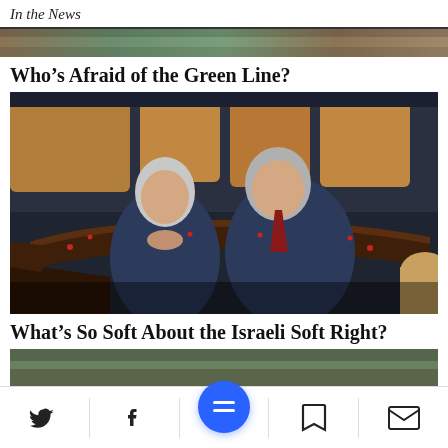In the News
Who’s Afraid of the Green Line?
[Figure (photo): Two men in dark suits seated side by side at what appears to be a legislative chamber (Knesset), engaged in conversation. Tan/caramel colored seats visible in background.]
What’s So Soft About the Israeli Soft Right?
[Figure (photo): Partially visible photo below the second headline, cropped at bottom of page.]
Navigation bar with Twitter, Facebook, menu, bookmark, and mail icons